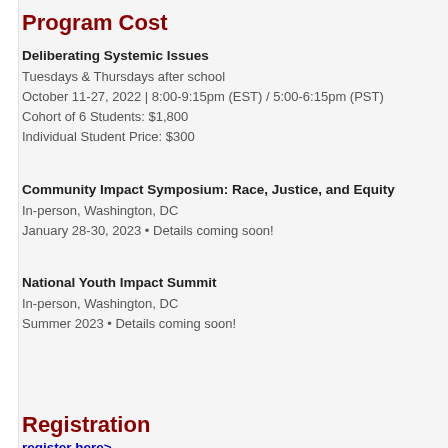Program Cost
Deliberating Systemic Issues
Tuesdays & Thursdays after school
October 11-27, 2022 | 8:00-9:15pm (EST) / 5:00-6:15pm (PST)
Cohort of 6 Students: $1,800
Individual Student Price: $300
Community Impact Symposium: Race, Justice, and Equity
In-person, Washington, DC
January 28-30, 2023 • Details coming soon!
National Youth Impact Summit
In-person, Washington, DC
Summer 2023  • Details coming soon!
Registration
register here>